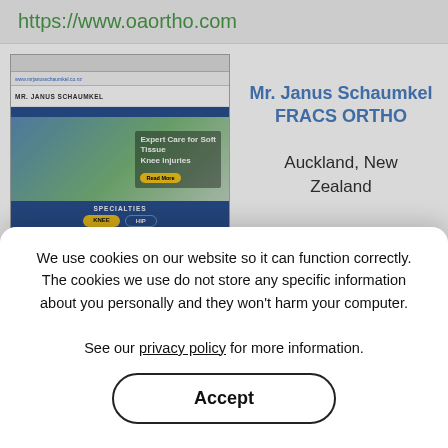https://www.oaortho.com
[Figure (screenshot): Screenshot of Mr. Janus Schaumkel's orthopaedic surgery website showing 'Expert Care for Soft Tissue Knee Injuries' hero section and Specialties section with KNEE and HIP buttons]
Mr. Janus Schaumkel FRACS ORTHO
Auckland, New Zealand
https://www.aucklandhipandkneesurgery.co.nz
Lisa Kaplan, D.O.
Rockledge, USA
We use cookies on our website so it can function correctly. The cookies we use do not store any specific information about you personally and they won't harm your computer.

See our privacy policy for more information.
Accept